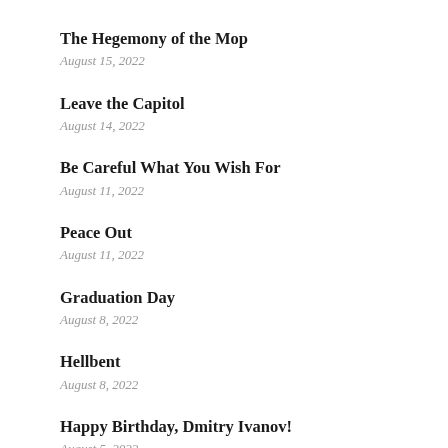The Hegemony of the Mop
August 15, 2022
Leave the Capitol
August 14, 2022
Be Careful What You Wish For
August 11, 2022
Peace Out
August 11, 2022
Graduation Day
August 8, 2022
Hellbent
August 8, 2022
Happy Birthday, Dmitry Ivanov!
August 5, 2022